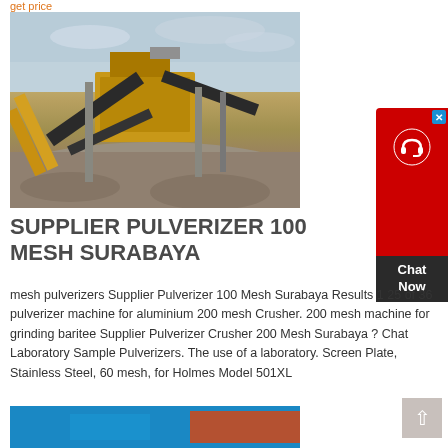get price
[Figure (photo): Industrial crusher/pulverizer machinery - large yellow/orange mining equipment with conveyor belts on a gravel site, overcast sky background]
SUPPLIER PULVERIZER 100 MESH SURABAYA
mesh pulverizers Supplier Pulverizer 100 Mesh Surabaya Results 1 25 of 36 pulverizer machine for aluminium 200 mesh Crusher. 200 mesh machine for grinding baritee Supplier Pulverizer Crusher 200 Mesh Surabaya ? Chat Laboratory Sample Pulverizers. The use of a laboratory. Screen Plate, Stainless Steel, 60 mesh, for Holmes Model 501XL
get price
[Figure (photo): Partial view of equipment against blue background]